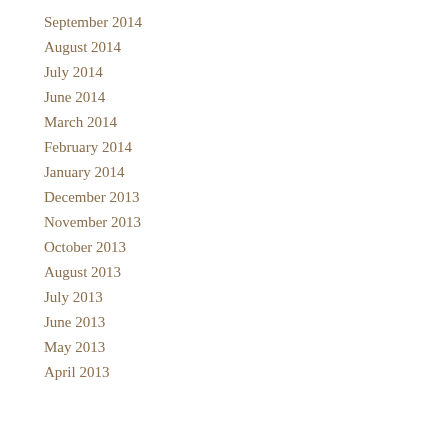September 2014
August 2014
July 2014
June 2014
March 2014
February 2014
January 2014
December 2013
November 2013
October 2013
August 2013
July 2013
June 2013
May 2013
April 2013